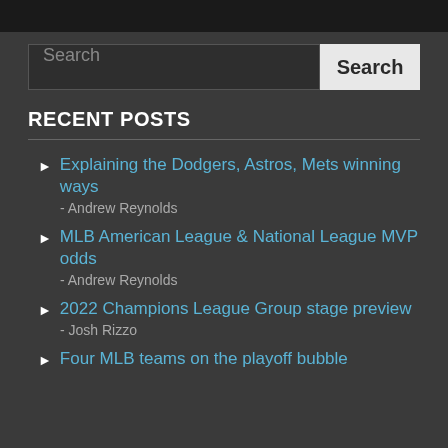RECENT POSTS
Explaining the Dodgers, Astros, Mets winning ways - Andrew Reynolds
MLB American League & National League MVP odds - Andrew Reynolds
2022 Champions League Group stage preview - Josh Rizzo
Four MLB teams on the playoff bubble